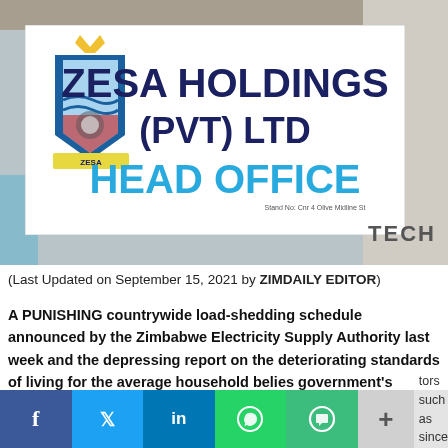[Figure (photo): Photograph of the ZESA Holdings (PVT) LTD Head Office sign on a building exterior, with the company crest/logo on the left side of the sign. The sign has dark blue text for 'ZESA HOLDINGS (PVT) LTD' and bright blue text for 'HEAD OFFICE'. A concrete building facade is visible to the right with 'TECH' text, and a glass door visible at the bottom left.]
(Last Updated on September 15, 2021 by ZIMDAILY EDITOR)
A PUNISHING countrywide load-shedding schedule announced by the Zimbabwe Electricity Supply Authority last week and the depressing report on the deteriorating standards of living for the average household belies government's upbeat tone that the country's economy is on a recovery path.